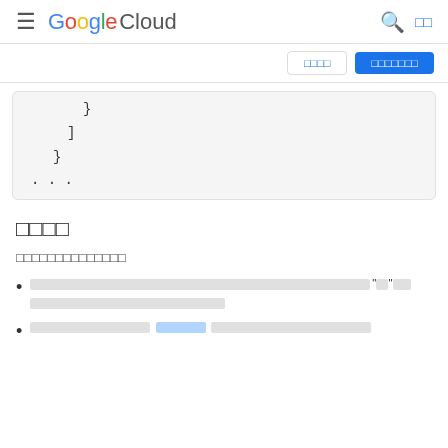Google Cloud
[Figure (screenshot): Google Cloud navigation header with hamburger menu, Google Cloud logo, search icon, and language selector buttons]
{ ] } ...
□□□□
□□□□□□□□□□□□□□
Redacted text with quoted characters and additional redacted content
Redacted text with highlighted portion and additional redacted content